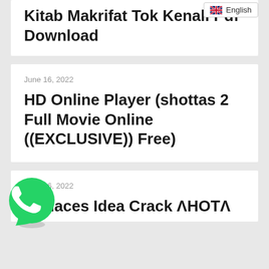[Figure (screenshot): English language selector badge with UK flag in top right corner]
Kitab Makrifat Tok Kenali Pdf Download
June 16, 2022
HD Online Player (shottas 2 Full Movie Online ((EXCLUSIVE)) Free)
[Figure (logo): WhatsApp green circular icon with phone handset]
June 16, 2022
Audaces Idea Crack ΛHOTΛ